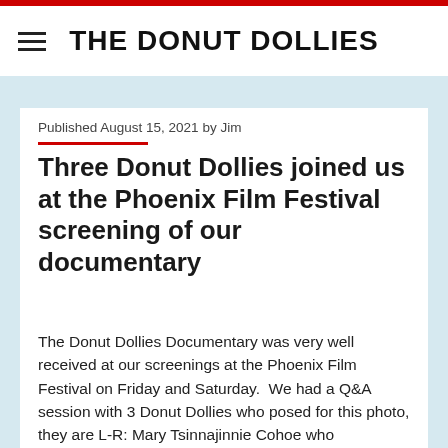THE DONUT DOLLIES
Published August 15, 2021 by Jim
Three Donut Dollies joined us at the Phoenix Film Festival screening of our documentary
The Donut Dollies Documentary was very well received at our screenings at the Phoenix Film Festival on Friday and Saturday.  We had a Q&A session with 3 Donut Dollies who posed for this photo, they are L-R: Mary Tsinnajinnie Cohoe who